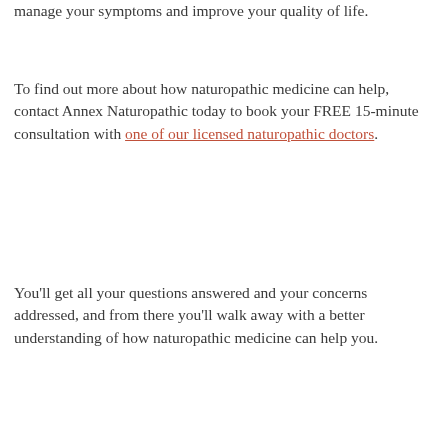manage your symptoms and improve your quality of life.
To find out more about how naturopathic medicine can help, contact Annex Naturopathic today to book your FREE 15-minute consultation with one of our licensed naturopathic doctors.
You'll get all your questions answered and your concerns addressed, and from there you'll walk away with a better understanding of how naturopathic medicine can help you.